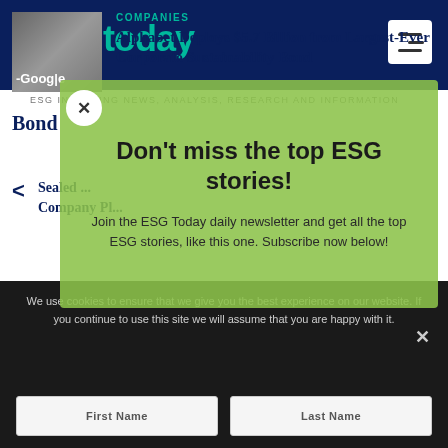ESGtoday — ESG INVESTING NEWS, ANALYSIS, RESEARCH AND INFORMATION
COMPANIES
Alphabet Deploys $5.7 Billion from Largest-Ever Corporate Sustainability Bond
Sealed ... Economy Company Pl...
Don't miss the top ESG stories!
Join the ESG Today daily newsletter and get all the top ESG stories, like this one. Subscribe now below!
We use cookies to ensure that we give you the best experience on our website. If you continue to use this site we will assume that you are happy with it.
First Name
Last Name